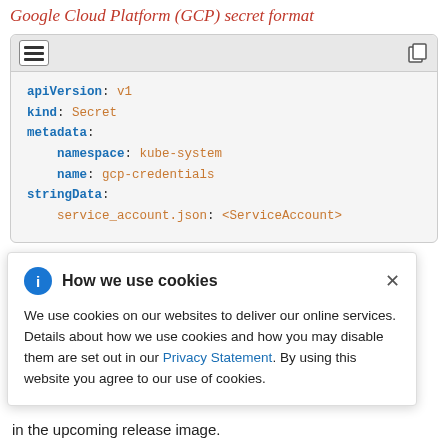Google Cloud Platform (GCP) secret format
[Figure (screenshot): Code block showing a Kubernetes Secret YAML for GCP credentials with syntax highlighting. Blue keywords: apiVersion, kind, metadata, namespace, name, stringData. Orange values: v1, Secret, kube-system, gcp-credentials, service_account.json, <ServiceAccount>.]
oud
s where a
ecause their
been
st objects
in the upcoming release image.
How we use cookies
We use cookies on our websites to deliver our online services. Details about how we use cookies and how you may disable them are set out in our Privacy Statement. By using this website you agree to our use of cookies.